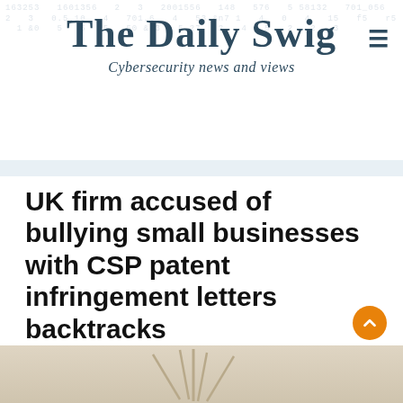The Daily Swig — Cybersecurity news and views
UK firm accused of bullying small businesses with CSP patent infringement letters backtracks
John Leyden 25 August 2021 at 16:10 UTC
Updated: 03 September 2021 at 15:20 UTC
Legal
Browsers
Secure Development
Datawing disavows CSP nonce legal offensive
[Figure (photo): Article illustration image with beige/tan background, partially visible]